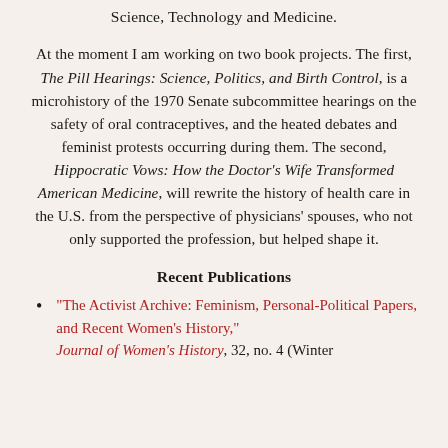Science, Technology and Medicine.
At the moment I am working on two book projects. The first, The Pill Hearings: Science, Politics, and Birth Control, is a microhistory of the 1970 Senate subcommittee hearings on the safety of oral contraceptives, and the heated debates and feminist protests occurring during them. The second, Hippocratic Vows: How the Doctor's Wife Transformed American Medicine, will rewrite the history of health care in the U.S. from the perspective of physicians' spouses, who not only supported the profession, but helped shape it.
Recent Publications
“The Activist Archive: Feminism, Personal-Political Papers, and Recent Women’s History,” Journal of Women’s History, 32, no. 4 (Winter